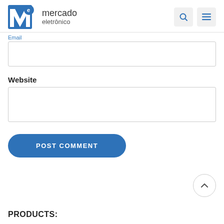[Figure (logo): Mercado Eletrônico logo with blue M/e icon and text 'mercado eletrônico']
Email
Website
POST COMMENT
PRODUCTS: